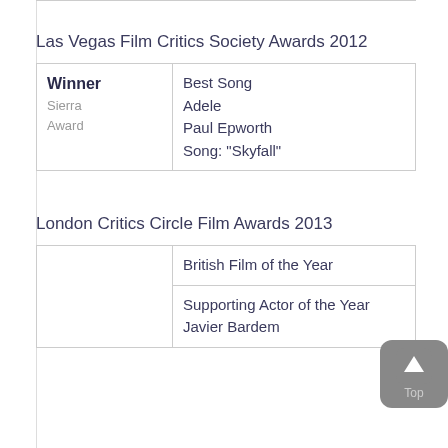Las Vegas Film Critics Society Awards 2012
|  |  |
| --- | --- |
| Winner
Sierra Award | Best Song
Adele
Paul Epworth
Song: "Skyfall" |
London Critics Circle Film Awards 2013
|  |  |
| --- | --- |
|  | British Film of the Year |
|  | Supporting Actor of the Year
Javier Bardem |